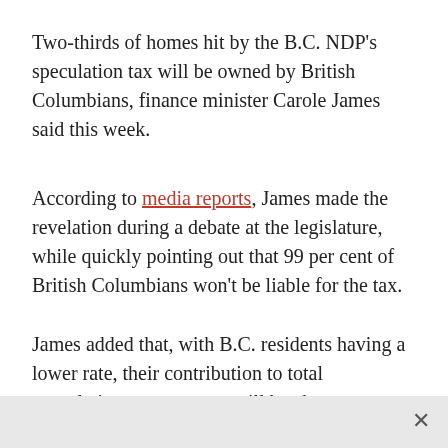Two-thirds of homes hit by the B.C. NDP's speculation tax will be owned by British Columbians, finance minister Carole James said this week.
According to media reports, James made the revelation during a debate at the legislature, while quickly pointing out that 99 per cent of British Columbians won't be liable for the tax.
James added that, with B.C. residents having a lower rate, their contribution to total speculation tax revenues will be about one third. The tax is expected to bring in about $201 million the each year, of which $140 million is projected to come from overseas or